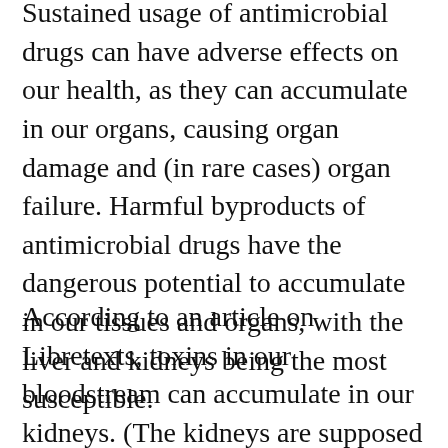Sustained usage of antimicrobial drugs can have adverse effects on our health, as they can accumulate in our organs, causing organ damage and (in rare cases) organ failure. Harmful byproducts of antimicrobial drugs have the dangerous potential to accumulate in our tissues and organs, with the liver and kidneys being the most susceptible.
According to an article on Libretexts, toxins in our bloodstream can accumulate in our kidneys. (The kidneys are supposed to be filtering our blood, so it makes sense that toxins would accumulate there first.)